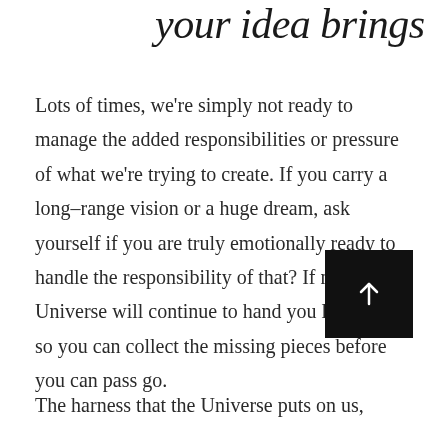your idea brings
Lots of times, we're simply not ready to manage the added responsibilities or pressure of what we're trying to create. If you carry a long–range vision or a huge dream, ask yourself if you are truly emotionally ready to handle the responsibility of that? If not, the Universe will continue to hand you life lessons so you can collect the missing pieces before you can pass go.
The harness that the Universe puts on us,